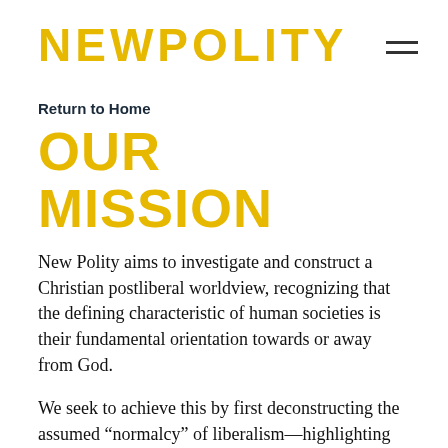NEWPOLITY
Return to Home
OUR MISSION
New Polity aims to investigate and construct a Christian postliberal worldview, recognizing that the defining characteristic of human societies is their fundamental orientation towards or away from God.
We seek to achieve this by first deconstructing the assumed “normalcy” of liberalism—highlighting the inconsistencies and logical flaws—and then imagining what a society should look like to be